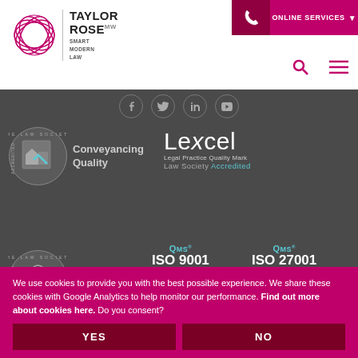[Figure (logo): Taylor Rose MW logo - pink geometric flower icon with text 'TAYLOR ROSE MW | SMART MODERN LAW']
[Figure (screenshot): Header navigation with phone button (dark pink), ONLINE SERVICES button (pink), search and menu icons]
[Figure (logo): Social media icons row: Facebook, Twitter, LinkedIn, YouTube - circular outlined icons]
[Figure (logo): The Law Society Conveyancing Quality accreditation badge]
[Figure (logo): Lexcel Legal Practice Quality Mark - Law Society Accredited badge]
[Figure (logo): The Law Society Personal Injury accreditation badge]
[Figure (logo): QMS ISO 9001 Registered badge with teal checkmark]
[Figure (logo): QMS ISO 27001 Registered badge with teal checkmark]
[Figure (logo): Circular logo with grey and pink rings (bottom left)]
[Figure (logo): The Legal 500 black logo (bottom right)]
We use cookies to provide you with the best possible experience. We share these cookies with Google Analytics to help monitor our performance. Find out more about cookies here. Do you consent?
YES
NO